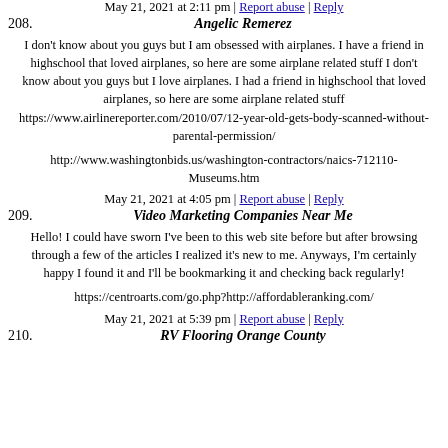May 21, 2021 at 2:11 pm | Report abuse | Reply
208. Angelic Remerez
I don't know about you guys but I am obsessed with airplanes. I have a friend in highschool that loved airplanes, so here are some airplane related stuff I don't know about you guys but I love airplanes. I had a friend in highschool that loved airplanes, so here are some airplane related stuff https://www.airlinereporter.com/2010/07/12-year-old-gets-body-scanned-without-parental-permission/
http://www.washingtonbids.us/washington-contractors/naics-712110-Museums.htm
May 21, 2021 at 4:05 pm | Report abuse | Reply
209. Video Marketing Companies Near Me
Hello! I could have sworn I've been to this web site before but after browsing through a few of the articles I realized it's new to me. Anyways, I'm certainly happy I found it and I'll be bookmarking it and checking back regularly!
https://centroarts.com/go.php?http://affordableranking.com/
May 21, 2021 at 5:39 pm | Report abuse | Reply
210. RV Flooring Orange County